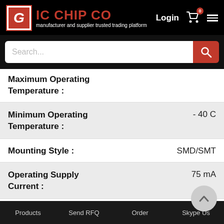[Figure (screenshot): IC Chip Co website header with logo, brand name, login button, cart icon with 0 badge, and hamburger menu on black background]
[Figure (screenshot): Search bar with placeholder text 'Search...' and red search button]
| Property | Value |
| --- | --- |
| Maximum Operating Temperature : |  |
| Minimum Operating Temperature : | - 40 C |
| Mounting Style : | SMD/SMT |
| Operating Supply Current : | 75 mA |
| Operating Supply | 1.85 V, 3.3 V |
Products   Send RFQ   Order   Skype Us